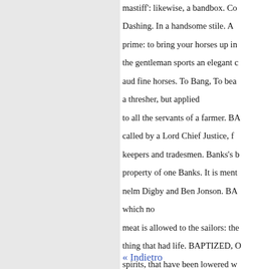mastiff': likewise, a bandbox. Co Dashing. In a handsome stile. A prime: to bring your horses up in the gentleman sports an elegant c aud fine horses. To Bang, To bea a thresher, but applied to all the servants of a farmer. BA called by a Lord Chief Justice, f keepers and tradesmen. Banks's b property of one Banks. It is ment nelm Digby and Ben Jonson. BA which no meat is allowed to the sailors: the thing that had life. BAPTIZED, O spirits, that have been lowered w wnich a whole parish sit to be tri itute, BARBER'S SIGN. A stan
« Indietro